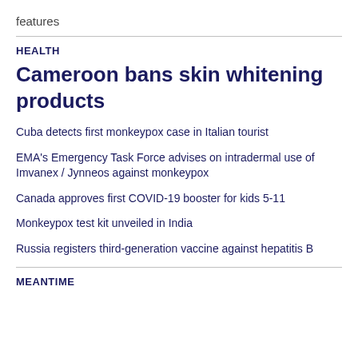features
HEALTH
Cameroon bans skin whitening products
Cuba detects first monkeypox case in Italian tourist
EMA's Emergency Task Force advises on intradermal use of Imvanex / Jynneos against monkeypox
Canada approves first COVID-19 booster for kids 5-11
Monkeypox test kit unveiled in India
Russia registers third-generation vaccine against hepatitis B
MEANTIME